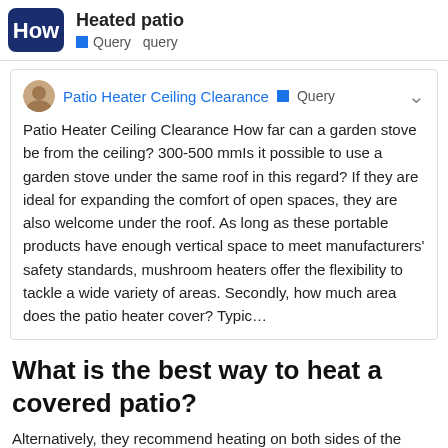Heated patio  Query  query
Patio Heater Ceiling Clearance  Query
Patio Heater Ceiling Clearance How far can a garden stove be from the ceiling? 300-500 mmIs it possible to use a garden stove under the same roof in this regard? If they are ideal for expanding the comfort of open spaces, they are also welcome under the roof. As long as these portable products have enough vertical space to meet manufacturers' safety standards, mushroom heaters offer the flexibility to tackle a wide variety of areas. Secondly, how much area does the patio heater cover? Typic…
What is the best way to heat a covered patio?
Alternatively, they recommend heating on both sides of the table, with the radiators facing in. However, efficient stove at the lowest price, put a new…